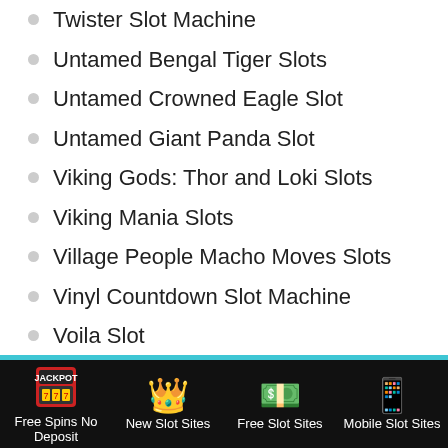Twister Slot Machine
Untamed Bengal Tiger Slots
Untamed Crowned Eagle Slot
Untamed Giant Panda Slot
Viking Gods: Thor and Loki Slots
Viking Mania Slots
Village People Macho Moves Slots
Vinyl Countdown Slot Machine
Voila Slot
Wacky Panda Slot Machine
Wasabi San Slot
What A Hoot Slot Machine
Free Spins No Deposit | New Slot Sites | Free Slot Sites | Mobile Slot Sites